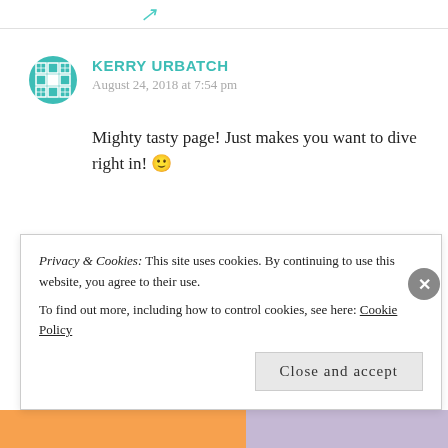↗
KERRY URBATCH
August 24, 2018 at 7:54 pm
Mighty tasty page! Just makes you want to dive right in! 🙂
Liked by 1 person
Privacy & Cookies: This site uses cookies. By continuing to use this website, you agree to their use.
To find out more, including how to control cookies, see here: Cookie Policy
Close and accept